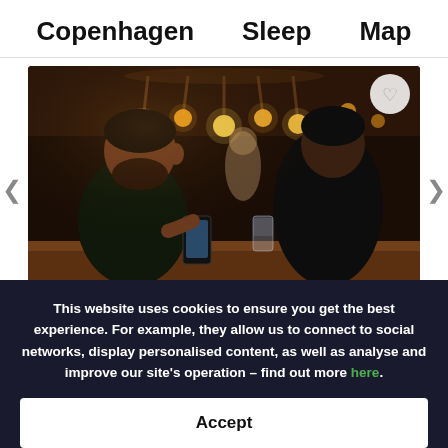Copenhagen   Sleep   Map
[Figure (photo): Photo of people sitting at a bar/restaurant counter with warm Edison bulb lighting overhead. Two men in dark clothing are visible, one looking at his phone.]
Generator Copenhagen
This website uses cookies to ensure you get the best experience. For example, they allow us to connect to social networks, display personalised content, as well as analyse and improve our site's operation – find out more here.
Accept